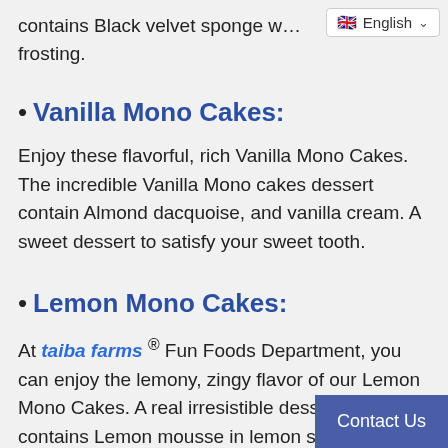contains Black velvet sponge w… frosting.
• Vanilla Mono Cakes:
Enjoy these flavorful, rich Vanilla Mono Cakes. The incredible Vanilla Mono cakes dessert contain Almond dacquoise, and vanilla cream. A sweet dessert to satisfy your sweet tooth.
• Lemon Mono Cakes:
At taiba farms ® Fun Foods Department, you can enjoy the lemony, zingy flavor of our Lemon Mono Cakes. A real irresistible dessert that contains Lemon mousse in lemon sponge cake. These cak… and luscious. A fresh taste that will satisfy…